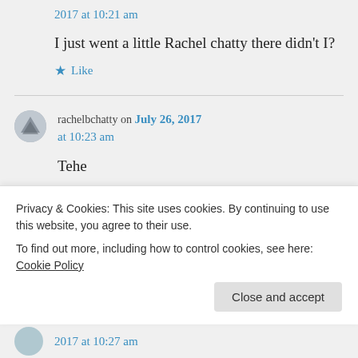2017 at 10:21 am
I just went a little Rachel chatty there didn't I?
★ Like
rachelbchatty on July 26, 2017 at 10:23 am
Tehe
Privacy & Cookies: This site uses cookies. By continuing to use this website, you agree to their use.
To find out more, including how to control cookies, see here: Cookie Policy
Close and accept
2017 at 10:27 am